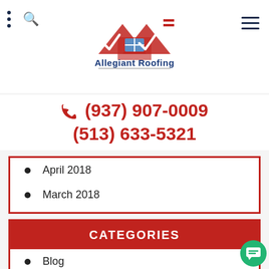[Figure (logo): Allegiant Roofing logo with stylized roof and checkmark shapes in red, a house icon, and American flag element, with company name in blue text]
(937) 907-0009
(513) 633-5321
April 2018
March 2018
CATEGORIES
Blog
Home Improvement
Roofing
siding
Skylights